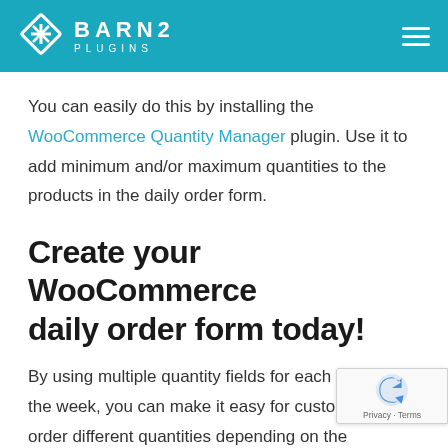BARN2 PLUGINS
You can easily do this by installing the WooCommerce Quantity Manager plugin. Use it to add minimum and/or maximum quantities to the products in the daily order form.
Create your WooCommerce daily order form today!
By using multiple quantity fields for each day of the week, you can make it easy for customers to order different quantities depending on the day of the week.